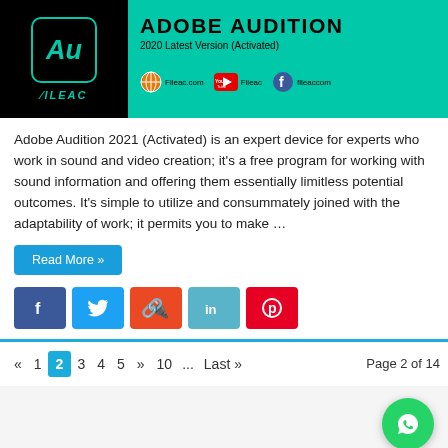[Figure (illustration): Adobe Audition 2020 Latest Version (Activated) promotional banner with Au logo on dark/teal background and Fileac.com branding with YouTube and Facebook icons]
Adobe Audition 2021 (Activated) is an expert device for experts who work in sound and video creation; it's a free program for working with sound information and offering them essentially limitless potential outcomes. It's simple to utilize and consummately joined with the adaptability of work; it permits you to make …
Read More »
[Figure (infographic): Social share buttons: Facebook, Twitter, StumbleUpon, LinkedIn, Pinterest]
« 1 2 3 4 5 » 10 ... Last » Page 2 of 14